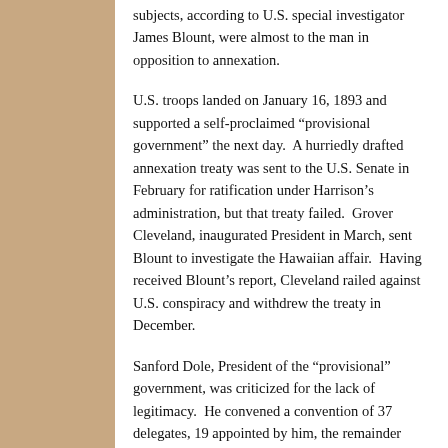subjects, according to U.S. special investigator James Blount, were almost to the man in opposition to annexation.
U.S. troops landed on January 16, 1893 and supported a self-proclaimed “provisional government” the next day. A hurriedly drafted annexation treaty was sent to the U.S. Senate in February for ratification under Harrison’s administration, but that treaty failed. Grover Cleveland, inaugurated President in March, sent Blount to investigate the Hawaiian affair. Having received Blount’s report, Cleveland railed against U.S. conspiracy and withdrew the treaty in December.
Sanford Dole, President of the “provisional” government, was criticized for the lack of legitimacy. He convened a convention of 37 delegates, 19 appointed by him, the remainder elected by those who disavowed loyalty to Queen Lili‘uokalani and who swore allegiance to the provisional government.
Using as their backdrop the U.S. Independence day